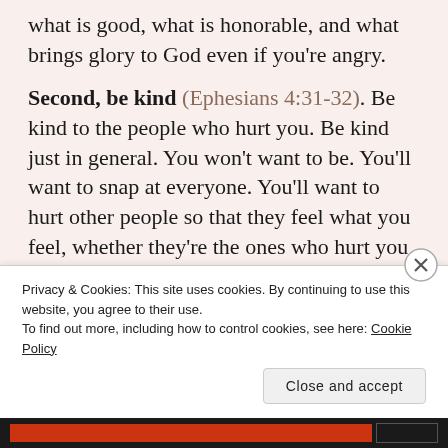what is good, what is honorable, and what brings glory to God even if you're angry.
Second, be kind (Ephesians 4:31-32). Be kind to the people who hurt you. Be kind just in general. You won't want to be. You'll want to snap at everyone. You'll want to hurt other people so that they feel what you feel, whether they're the ones who hurt you or not. But think about that sort of behavior. If you use your anger as an excuse to attack other people, you're saying that you deserve better treatment than Jesus.
Privacy & Cookies: This site uses cookies. By continuing to use this website, you agree to their use.
To find out more, including how to control cookies, see here: Cookie Policy
Close and accept